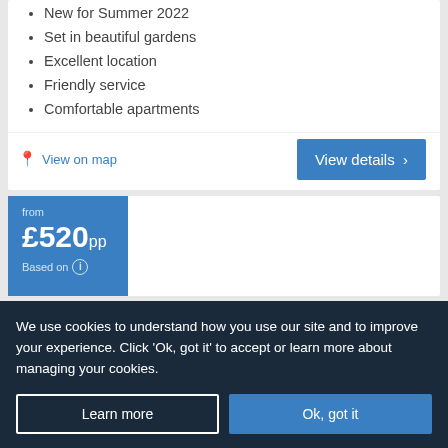New for Summer 2022
Set in beautiful gardens
Excellent location
Friendly service
Comfortable apartments
View on map
View details ›
from £520pp Based on ℹ
We use cookies to understand how you use our site and to improve your experience. Click 'Ok, got it' to accept or learn more about managing your cookies.
Learn more
Ok, got it